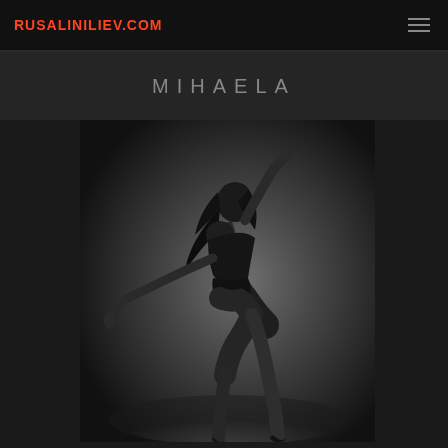RUSALINILIEV.COM
MIHAELA
[Figure (photo): Black and white fashion/dance photograph of a woman named Mihaela posing dramatically, leaning to one side with one arm raised above her head and the other extended outward. She wears a dark outfit. The background is dark and moody.]